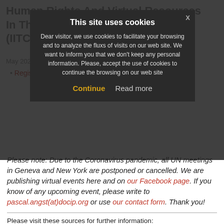Human Rights And Virtual Resources In The Time Of Covid-19 : Part II (IITC)
May 2020 | Online | Free Registration
Registration
[Figure (screenshot): Cookie consent modal overlay with title 'This site uses cookies', body text asking visitor to accept cookies for browsing, and Continue / Read more buttons]
Please note: Due to the Coronavirus pandemic, all UN meetings in Geneva and New York are postponed or cancelled. We are publishing virtual events here and on our Facebook page. If you know of any upcoming event, please write to pascal.angst(at)docip.org or use our contact form. Thank you!
Please visit these sources for further information:
Websites:
UN News: http://bit.ly/2U1by9q
UN Geneva: http://bit.ly/2lWG91t